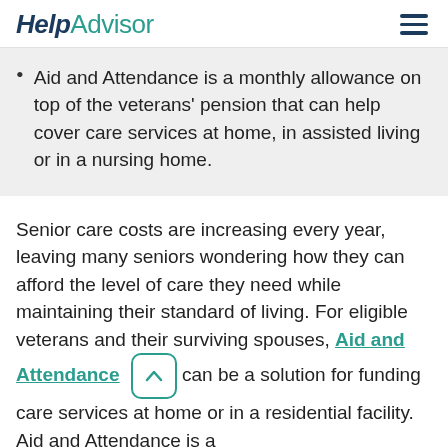HelpAdvisor
Aid and Attendance is a monthly allowance on top of the veterans' pension that can help cover care services at home, in assisted living or in a nursing home.
Senior care costs are increasing every year, leaving many seniors wondering how they can afford the level of care they need while maintaining their standard of living. For eligible veterans and their surviving spouses, Aid and Attendance can be a solution for funding care services at home or in a residential facility. Aid and Attendance is a